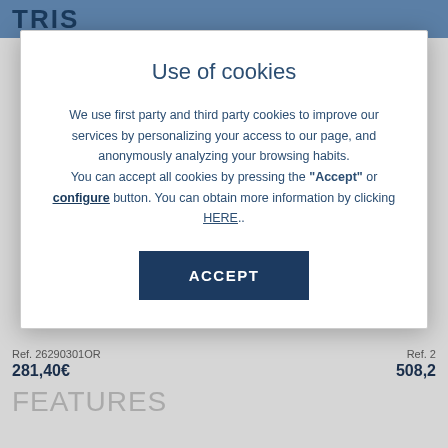[Figure (screenshot): Background webpage header with blue banner and TRIS logo]
Use of cookies
We use first party and third party cookies to improve our services by personalizing your access to our page, and anonymously analyzing your browsing habits. You can accept all cookies by pressing the "Accept" or configure button. You can obtain more information by clicking HERE..
ACCEPT
Ref. 26290301OR
281,40€
Ref. 2
508,2
FEATURES